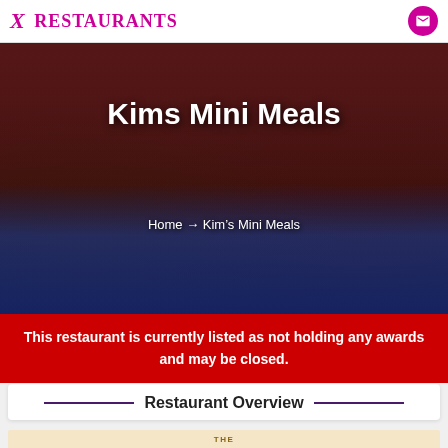X Restaurants
[Figure (photo): Interior photo of Kim's Mini Meals restaurant showing a dining table covered with a blue cloth, laid out with many plates of food, cups and saucers, tea pot, and various dishes. The walls are dark red with framed pictures. Restaurant name 'Kims Mini Meals' is overlaid in white bold text. Breadcrumb navigation shows 'Home → Kim's Mini Meals'.]
This restaurant is currently listed as not holding any awards and may be closed.
Restaurant Overview